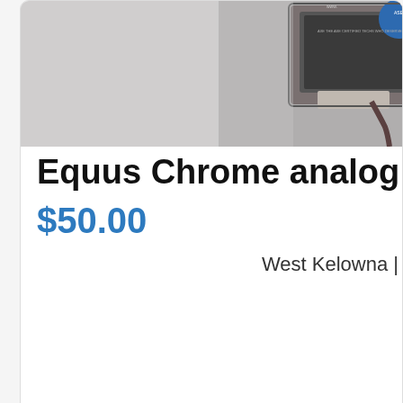[Figure (photo): Product photo of Equus Chrome analog voltmeter in retail packaging, partially cropped at top of card]
Equus Chrome analog vol
$50.00
West Kelowna |
[Figure (other): Second listing card with no photo placeholder icon (camera with slash)]